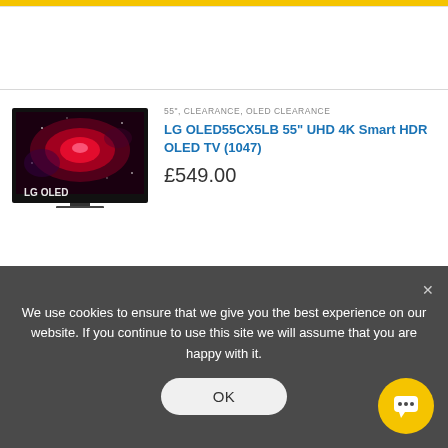[Figure (screenshot): LG OLED TV product listing page showing two product rows with LG OLED TV images]
55", CLEARANCE, OLED CLEARANCE
LG OLED55CX5LB 55" UHD 4K Smart HDR OLED TV (1047)
£549.00
55", CLEARANCE, OLED CLEARANCE
LG OLED55CX5LB 55" UHD 4K Smart HDR OLED TV (1048)
We use cookies to ensure that we give you the best experience on our website. If you continue to use this site we will assume that you are happy with it.
OK